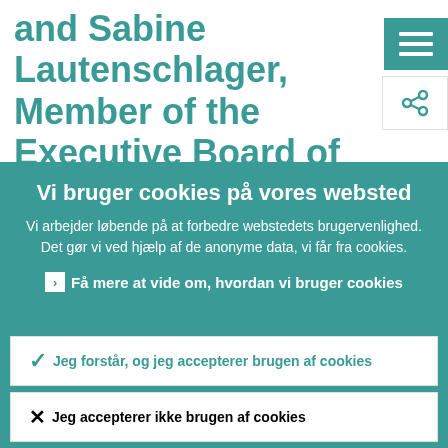and Sabine Lautenschlager, Member of the Executive Board of the ECB and Vice-Chair of the Supervisory
Vi bruger cookies på vores websted
Vi arbejder løbende på at forbedre webstedets brugervenlighed. Det gør vi ved hjælp af de anonyme data, vi får fra cookies.
Få mere at vide om, hvordan vi bruger cookies
Jeg forstår, og jeg accepterer brugen af cookies
Jeg accepterer ikke brugen af cookies